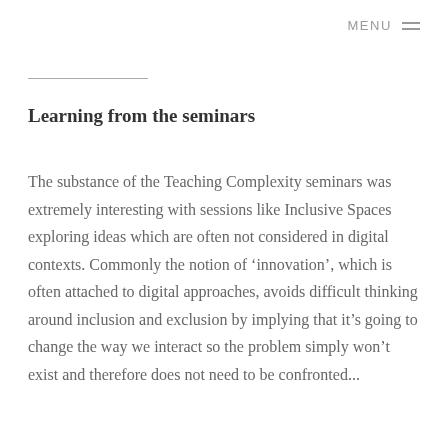MENU
Learning from the seminars
The substance of the Teaching Complexity seminars was extremely interesting with sessions like Inclusive Spaces exploring ideas which are often not considered in digital contexts. Commonly the notion of ‘innovation’, which is often attached to digital approaches, avoids difficult thinking around inclusion and exclusion by implying that it’s going to change the way we interact so the problem simply won’t exist and therefore does not need to be confronted...